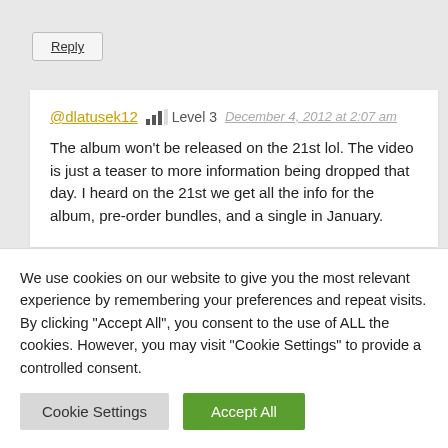Reply
@dlatusek12  Level 3  December 4, 2012 at 2:07 am
The album won't be released on the 21st lol. The video is just a teaser to more information being dropped that day. I heard on the 21st we get all the info for the album, pre-order bundles, and a single in January.
We use cookies on our website to give you the most relevant experience by remembering your preferences and repeat visits. By clicking "Accept All", you consent to the use of ALL the cookies. However, you may visit "Cookie Settings" to provide a controlled consent.
Cookie Settings
Accept All